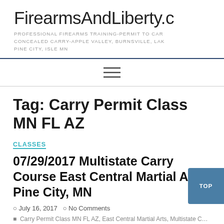FirearmsAndLiberty.c
PROFESSIONAL FIREARMS TRAINING-PERMIT TO CAR… CONCEALED CARRY-APPLE VALLEY, BURNSVILLE, LAK… PINE CITY, ISLE MN
[Figure (other): Hamburger menu icon with three horizontal lines]
Tag: Carry Permit Class MN FL AZ
CLASSES
07/29/2017 Multistate Carry Course East Central Martial Arts Pine City, MN
July 16, 2017    No Comments
Carry Permit Class MN FL AZ, East Central Martial Arts, Multistate Co…